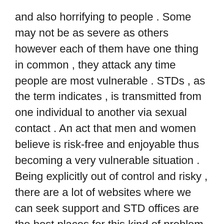and also horrifying to people . Some may not be as severe as others however each of them have one thing in common , they attack any time people are most vulnerable . STDs , as the term indicates , is transmitted from one individual to another via sexual contact . An act that men and women believe is risk-free and enjoyable thus becoming a very vulnerable situation . Being explicitly out of control and risky , there are a lot of websites where we can seek support and STD offices are the best places for this kind of problem .
A lot of STD clinics offer confidential STD laboratory tests . Certain clinics will deal with customers on a drop-in basis , despite the fact that meetings are recommended . Treatment method